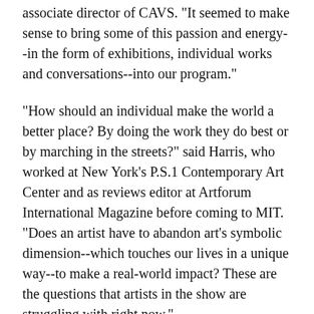associate director of CAVS. "It seemed to make sense to bring some of this passion and energy--in the form of exhibitions, individual works and conversations--into our program."
"How should an individual make the world a better place? By doing the work they do best or by marching in the streets?" said Harris, who worked at New York's P.S.1 Contemporary Art Center and as reviews editor at Artforum International Magazine before coming to MIT. "Does an artist have to abandon art's symbolic dimension--which touches our lives in a unique way--to make a real-world impact? These are the questions that artists in the show are struggling with right now."